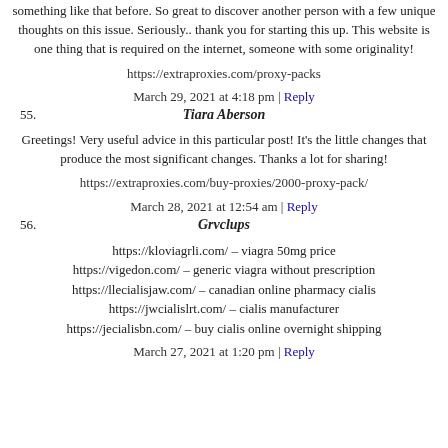something like that before. So great to discover another person with a few unique thoughts on this issue. Seriously.. thank you for starting this up. This website is one thing that is required on the internet, someone with some originality!
https://extraproxies.com/proxy-packs
March 29, 2021 at 4:18 pm | Reply
55. Tiara Aberson
Greetings! Very useful advice in this particular post! It's the little changes that produce the most significant changes. Thanks a lot for sharing!
https://extraproxies.com/buy-proxies/2000-proxy-pack/
March 28, 2021 at 12:54 am | Reply
56. Grvclups
https://kloviagrli.com/ – viagra 50mg price
https://vigedon.com/ – generic viagra without prescription
https://llecialisjaw.com/ – canadian online pharmacy cialis
https://jwcialislrt.com/ – cialis manufacturer
https://jecialisbn.com/ – buy cialis online overnight shipping
March 27, 2021 at 1:20 pm | Reply